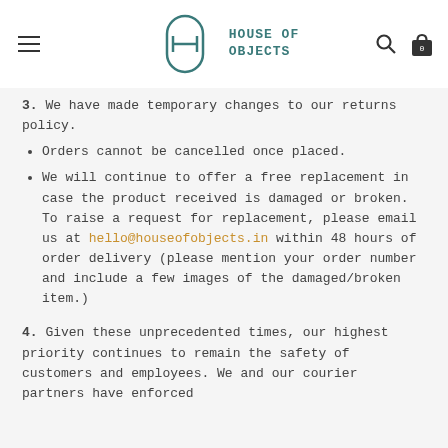HOUSE OF OBJECTS
3. We have made temporary changes to our returns policy.
Orders cannot be cancelled once placed.
We will continue to offer a free replacement in case the product received is damaged or broken. To raise a request for replacement, please email us at hello@houseofobjects.in within 48 hours of order delivery (please mention your order number and include a few images of the damaged/broken item.)
4. Given these unprecedented times, our highest priority continues to remain the safety of customers and employees. We and our courier partners have enforced